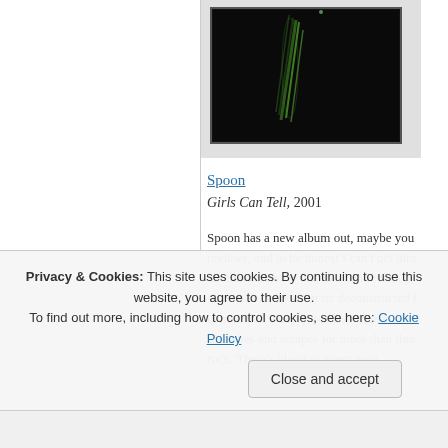[Figure (photo): Album cover art — dark/black background with faint green diagonal light streaks, appears to be a vinyl record or similar object photographed at night]
Spoon
Girls Can Tell, 2001
Spoon has a new album out, maybe you've seen the reviews, and to be honest I can't get into it. This is another reminder that this band relies as... Girls is/was Spoon at its deconstructed finest, able to maintain a nervy, restless edge even w... scratches and scrapes for more than thre... rock. There's blood in every note.
Privacy & Cookies: This site uses cookies. By continuing to use this website, you agree to their use.
To find out more, including how to control cookies, see here: Cookie Policy
Close and accept